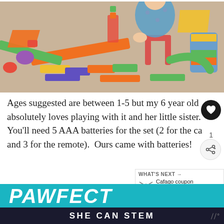[Figure (photo): Child in polka-dot pajamas sitting on carpet playing with a colorful toy car track set with ramps, tunnels, and road pieces]
Ages suggested are between 1-5 but my 6 year old absolutely loves playing with it and her little sister. You'll need 5 AAA batteries for the set (2 for the ca and 3 for the remote).  Ours came with batteries!
[Figure (screenshot): WHAT'S NEXT arrow with Cafago coupon code: GoolRC T and drone icon]
[Figure (illustration): Teal banner with PAWFECT text in white bold italic, and SHE CAN STEM text on dark background at bottom]